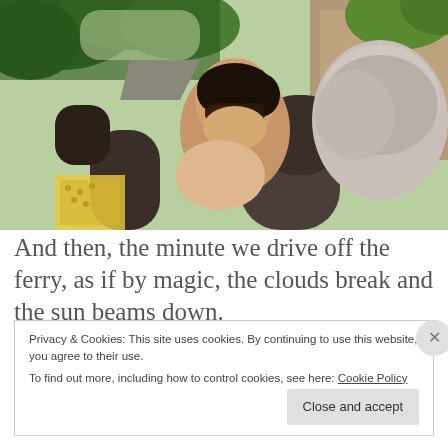[Figure (photo): A woman with sunglasses sitting in a convertible car on a tree-lined road. Another person (partially visible, showing gray hair from behind) is in the passenger seat. The road is surrounded by green trees and a rocky hillside.]
And then, the minute we drive off the ferry, as if by magic, the clouds break and the sun beams down.
Privacy & Cookies: This site uses cookies. By continuing to use this website, you agree to their use.
To find out more, including how to control cookies, see here: Cookie Policy